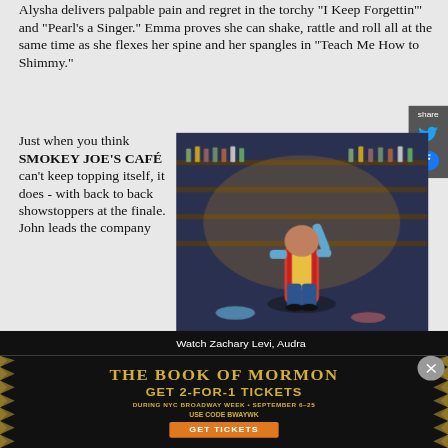Alysha delivers palpable pain and regret in the torchy "I Keep Forgettin'" and "Pearl's a Singer." Emma proves she can shake, rattle and roll all at the same time as she flexes her spine and her spangles in "Teach Me How to Shimmy."
Just when you think SMOKEY JOE'S CAFÉ can't keep topping itself, it does - with back to back showstoppers at the finale. John leads the company
[Figure (photo): Stage performance photo showing a performer in colorful costume pointing upward on a stage set resembling a café with shelves of bottles and memorabilia]
Watch Zachary Levi, Audra
[Figure (infographic): Advertisement for The Book of Mormon musical. GET 2-FOR-1 TICKETS DURING NYC BROADWAY WEEK • SEPTEMBER 6-25 USE CODE BWAYWK GET TICKETS]